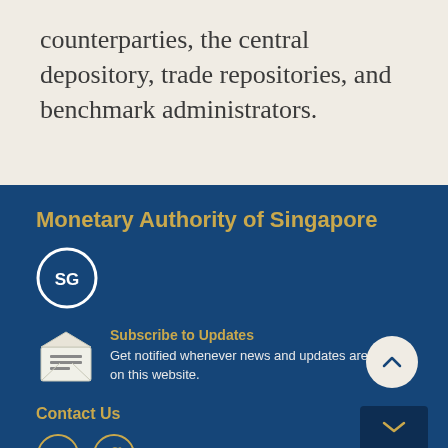counterparties, the central depository, trade repositories, and benchmark administrators.
Monetary Authority of Singapore
[Figure (logo): SG circular logo with letters SG inside a circle]
[Figure (illustration): Open envelope/mail icon representing Subscribe to Updates]
Subscribe to Updates — Get notified whenever news and updates are posted on this website.
Contact Us
[Figure (logo): LinkedIn and Twitter social media icons in gold circles, and a scroll-down dark box]
[Figure (other): Back to top button — circular beige button with upward caret]